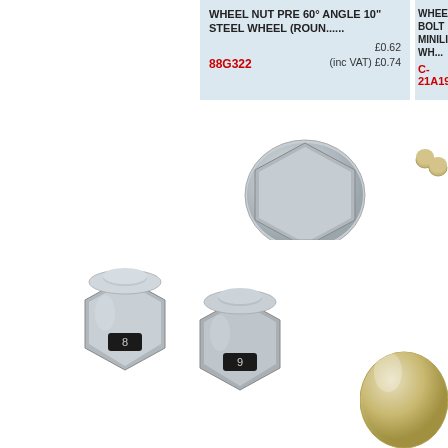[Figure (photo): Wheel bolt and washer product photo - silver zinc plated bolt with flat washer]
[Figure (photo): Two small wheel nuts photo - gold/chrome colored dome nuts]
[Figure (photo): Two chrome wheel nuts on bottom of page]
[Figure (photo): Large dome nut partially visible at bottom right]
WHEEL NUT PRE 60° ANGLE 10" STEEL WHEEL (ROUN......
88G322   £0.62  (inc VAT) £0.74
WHEEL BOLT MINILITE WHE...
C-21A1905
WHEEL BOLT & WASHER 4.5 & 5x10 MINILITE 35mm .......
C-21A1906   £2.50  (inc VAT) £3.00
WHEEL NUT P... COOPER AND... ALL......
NAM9075